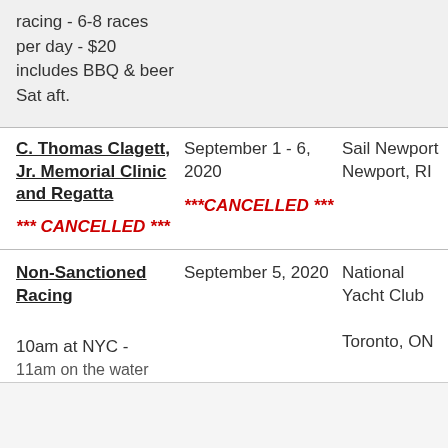racing - 6-8 races per day - $20 includes BBQ & beer Sat aft.
| Event | Date | Location |
| --- | --- | --- |
| C. Thomas Clagett, Jr. Memorial Clinic and Regatta
*** CANCELLED *** | September 1 - 6, 2020
***CANCELLED*** | Sail Newport
Newport, RI |
| Non-Sanctioned Racing | September 5, 2020 | National Yacht Club
Toronto, ON |
10am at NYC - 11am on the water